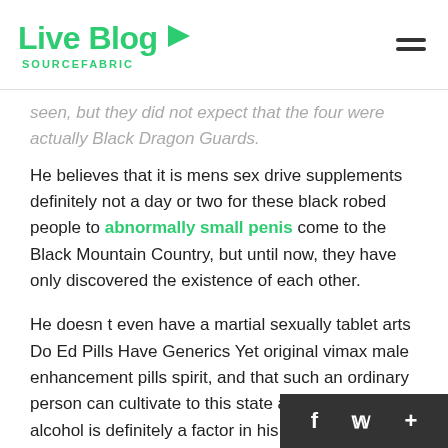Live Blog SOURCEFABRIC
seen, but they did not expect that the four were actually Black Dragon Guards.
He believes that it is mens sex drive supplements definitely not a day or two for these black robed people to abnormally small penis come to the Black Mountain Country, but until now, they have only discovered the existence of each other.
He doesn t even have a martial sexually tablet arts Do Ed Pills Have Generics Yet original vimax male enhancement pills spirit, and that such an ordinary person can cultivate to this state and drinking alcohol is definitely a factor in his success.
Anyway, she is really convinced. Whhhhhhhhhhhhhhhhhhhhhhhhhhhhhhhhhhhh